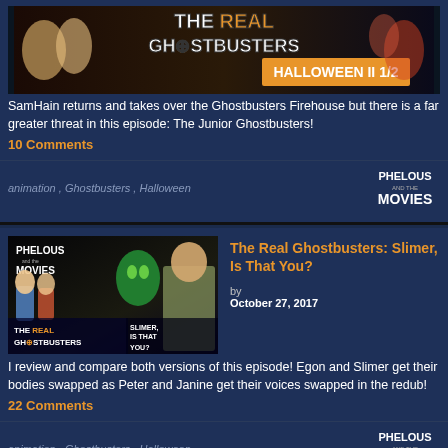[Figure (screenshot): The Real Ghostbusters Halloween II 1/2 thumbnail image]
SamHain returns and takes over the Ghostbusters Firehouse but there is a far greater threat in this episode: The Junior Ghostbusters!
10 Comments
animation , Ghostbusters , Halloween
[Figure (logo): Phelous and the Movies logo]
[Figure (screenshot): The Real Ghostbusters: Slimer, Is That You? thumbnail image with Phelous]
The Real Ghostbusters: Slimer, Is That You?
by October 27, 2017
I review and compare both versions of this episode! Egon and Slimer get their bodies swapped as Peter and Janine get their voices swapped in the redub!
22 Comments
animation , Ghostbusters , Halloween
[Figure (logo): Phelous and the Movies logo]